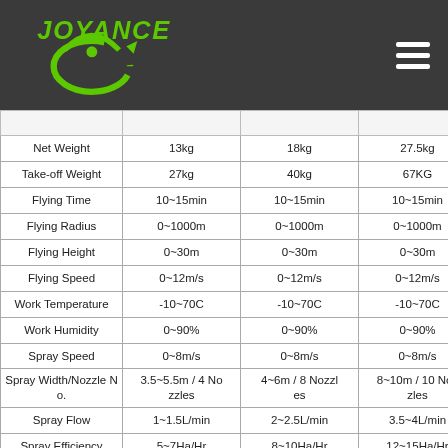[Figure (logo): Joyance green logo with swoosh drone graphic on dark grey header background, with hamburger menu icon on the right]
|  |  |  |  |
| --- | --- | --- | --- |
| Net Weight | 13kg | 18kg | 27.5kg |
| Take-off Weight | 27kg | 40kg | 67KG |
| Flying Time | 10~15min | 10~15min | 10~15min |
| Flying Radius | 0~1000m | 0~1000m | 0~1000m |
| Flying Height | 0~30m | 0~30m | 0~30m |
| Flying Speed | 0~12m/s | 0~12m/s | 0~12m/s |
| Work Temperature | -10~70C | -10~70C | -10~70C |
| Work Humidity | 0~90% | 0~90% | 0~90% |
| Spray Speed | 0~8m/s | 0~8m/s | 0~8m/s |
| Spray Width/Nozzle No. | 3.5~5.5m / 4 Nozzles | 4~6m / 8 Nozzles | 8~10m / 10 Nozzles |
| Spray Flow | 1~1.5L/min | 2~2.5L/min | 3.5~4L/min |
| Spray Efficiency | 5~7Ha/Hr | 8~10Ha/Hr | 12~15Ha/Hr |